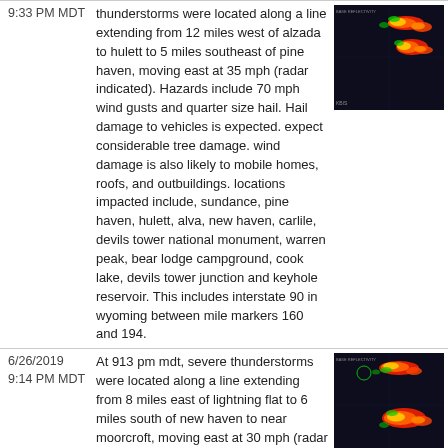9:33 PM MDT — thunderstorms were located along a line extending from 12 miles west of alzada to hulett to 5 miles southeast of pine haven, moving east at 35 mph (radar indicated). Hazards include 70 mph wind gusts and quarter size hail. Hail damage to vehicles is expected. expect considerable tree damage. wind damage is also likely to mobile homes, roofs, and outbuildings. locations impacted include, sundance, pine haven, hulett, alva, new haven, carlile, devils tower national monument, warren peak, bear lodge campground, cook lake, devils tower junction and keyhole reservoir. This includes interstate 90 in wyoming between mile markers 160 and 194.
[Figure (other): Radar image showing severe thunderstorm cells with color-coded precipitation intensity]
6/26/2019 9:14 PM MDT — At 913 pm mdt, severe thunderstorms were located along a line extending from 8 miles east of lightning flat to 6 miles south of new haven to near moorcroft, moving east at 30 mph (radar indicated). Hazards include 70 mph wind gusts and half dollar size hail. Hail damage to vehicles is expected. expect considerable tree damage. Wind damage is also likely to mobile homes, roofs, and outbuildings.
[Figure (other): Radar image showing severe thunderstorm line with color-coded precipitation intensity]